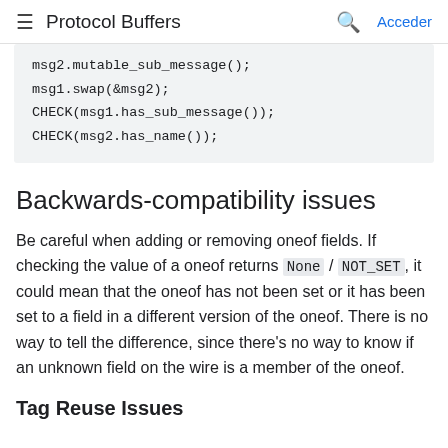Protocol Buffers  Acceder
msg2.mutable_sub_message();
msg1.swap(&msg2);
CHECK(msg1.has_sub_message());
CHECK(msg2.has_name());
Backwards-compatibility issues
Be careful when adding or removing oneof fields. If checking the value of a oneof returns None / NOT_SET, it could mean that the oneof has not been set or it has been set to a field in a different version of the oneof. There is no way to tell the difference, since there's no way to know if an unknown field on the wire is a member of the oneof.
Tag Reuse Issues